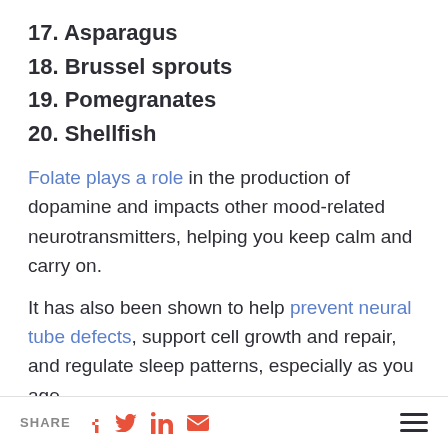17. Asparagus
18. Brussel sprouts
19. Pomegranates
20. Shellfish
Folate plays a role in the production of dopamine and impacts other mood-related neurotransmitters, helping you keep calm and carry on.
It has also been shown to help prevent neural tube defects, support cell growth and repair, and regulate sleep patterns, especially as you age.
A deficiency in folate levels has been linked to a
SHARE [facebook] [twitter] [linkedin] [email] [menu]